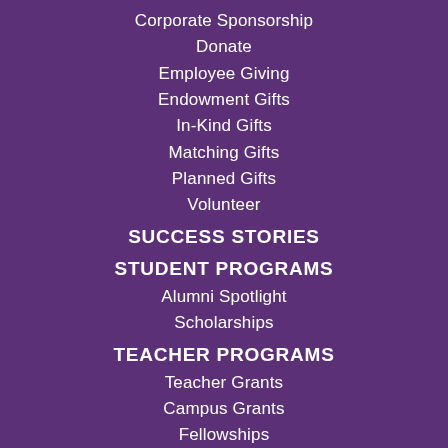Corporate Sponsorship
Donate
Employee Giving
Endowment Gifts
In-Kind Gifts
Matching Gifts
Planned Gifts
Volunteer
SUCCESS STORIES
STUDENT PROGRAMS
Alumni Spotlight
Scholarships
TEACHER PROGRAMS
Teacher Grants
Campus Grants
Fellowships